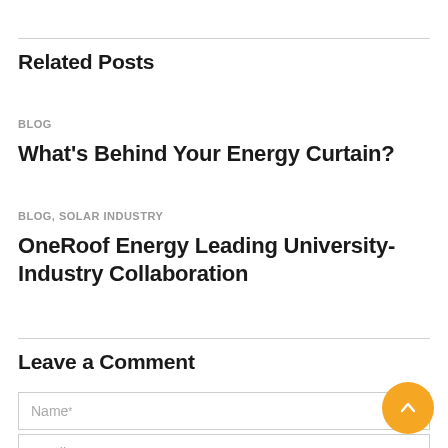Related Posts
BLOG
What’s Behind Your Energy Curtain?
BLOG, SOLAR INDUSTRY
OneRoof Energy Leading University-Industry Collaboration
Leave a Comment
Name*
Email*